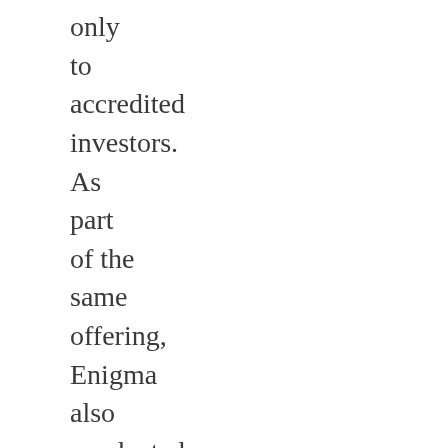only
to
accredited
investors.
As
part
of the
same
offering,
Enigma
also
conducted
a
one-
day
“crowd